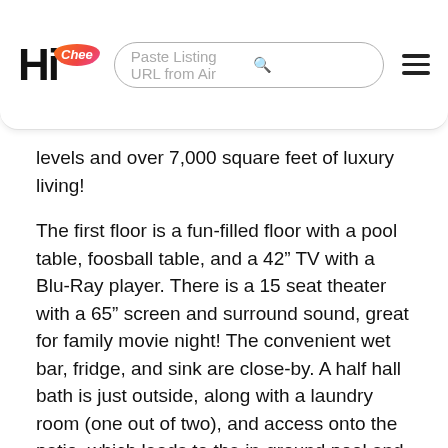Hi Chee — Paste Listing URL from Air [search bar]
levels and over 7,000 square feet of luxury living!
The first floor is a fun-filled floor with a pool table, foosball table, and a 42” TV with a Blu-Ray player. There is a 15 seat theater with a 65” screen and surround sound, great for family movie night! The convenient wet bar, fridge, and sink are close-by. A half hall bath is just outside, along with a laundry room (one out of two), and access onto the patio, which leads to the in-ground pool and beach. If exercising is a must, enjoy your own exercise room, providing fitness buffs with a Recumbent bike, treadmill, and cross trainer along with a flatscreen TV! There are three bedroom suites located on the first floor: two king main suites with a private bath and one queen main suite with a bath. Two entrances to the villa are on the first floor, one being via stairs to the foyer, the other with close proximity to the elevator, which accesses each floor.
The second level offers a well-equipped kitchen accented with